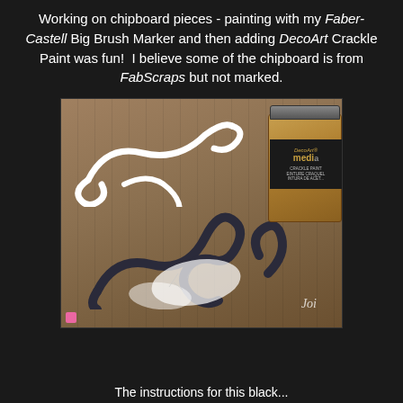Working on chipboard pieces - painting with my Faber-Castell Big Brush Marker and then adding DecoArt Crackle Paint was fun!  I believe some of the chipboard is from FabScraps but not marked.
[Figure (photo): Photo of chipboard decorative scroll pieces on a wooden surface, some painted white and one dark/black with crackle paint effect, alongside a DecoArt media Crackle Paint jar. Watermark 'Joi' visible in lower right.]
The instructions for this black...